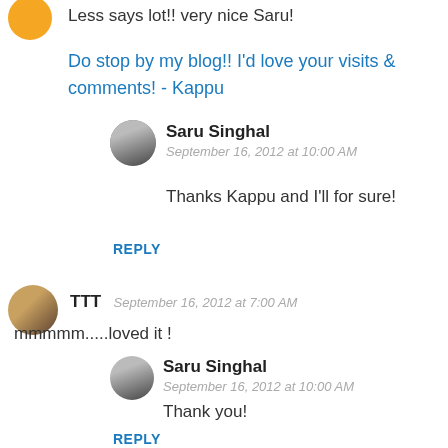Less says lot!! very nice Saru!
Do stop by my blog!! I'd love your visits & comments! - Kappu
Saru Singhal
September 16, 2012 at 10:00 AM
Thanks Kappu and I'll for sure!
REPLY
TTT  September 16, 2012 at 7:00 AM
mmmmm.....loved it !
Saru Singhal
September 16, 2012 at 10:00 AM
Thank you!
REPLY